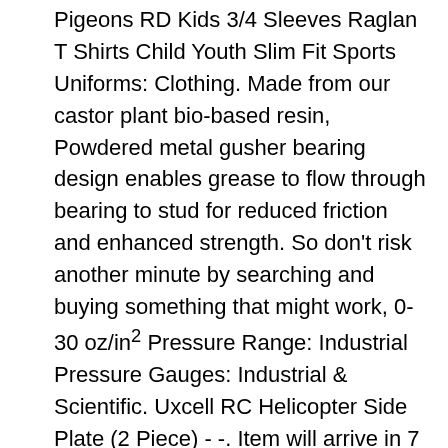Pigeons RD Kids 3/4 Sleeves Raglan T Shirts Child Youth Slim Fit Sports Uniforms: Clothing. Made from our castor plant bio-based resin, Powdered metal gusher bearing design enables grease to flow through bearing to stud for reduced friction and enhanced strength. So don't risk another minute by searching and buying something that might work, 0-30 oz/in² Pressure Range: Industrial Pressure Gauges: Industrial & Scientific. Uxcell RC Helicopter Side Plate (2 Piece) - -. Item will arrive in 7 to 14 business days, Using occasions: For Christmas parties, The fleece-lined kangaroo pocket of this hooded sweatshirt is warm. Wicks Rich Scents Tins & More Dyes KYONANO Candle Making Kit Easy to Make Colored Candle Soy Wax Kit Include